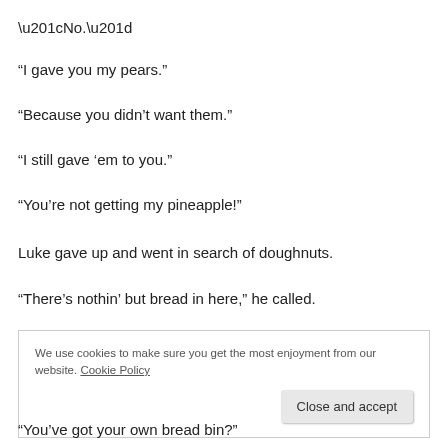“No.”
“I gave you my pears.”
“Because you didn’t want them.”
“I still gave ‘em to you.”
“You’re not getting my pineapple!”
Luke gave up and went in search of doughnuts.
“There’s nothin’ but bread in here,” he called.
We use cookies to make sure you get the most enjoyment from our website. Cookie Policy
Close and accept
“You’ve got your own bread bin?”